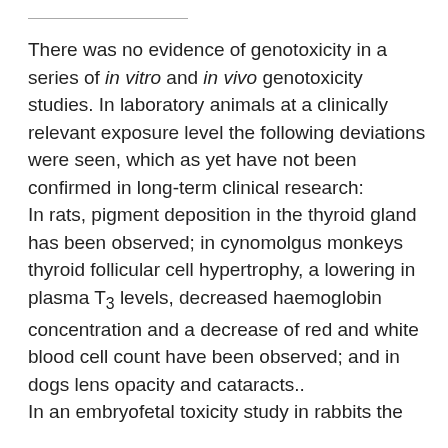There was no evidence of genotoxicity in a series of in vitro and in vivo genotoxicity studies. In laboratory animals at a clinically relevant exposure level the following deviations were seen, which as yet have not been confirmed in long-term clinical research: In rats, pigment deposition in the thyroid gland has been observed; in cynomolgus monkeys thyroid follicular cell hypertrophy, a lowering in plasma T3 levels, decreased haemoglobin concentration and a decrease of red and white blood cell count have been observed; and in dogs lens opacity and cataracts.. In an embryofetal toxicity study in rabbits the